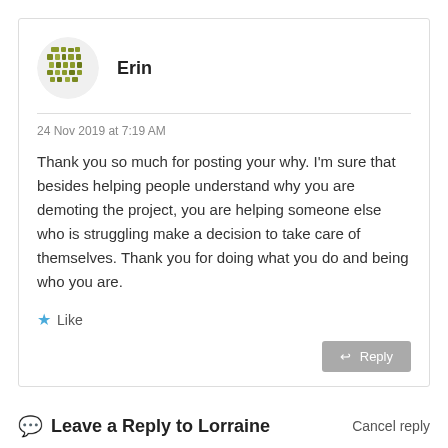[Figure (illustration): Circular avatar icon with a green mosaic/grid pattern, representing user Erin]
Erin
24 Nov 2019 at 7:19 AM
Thank you so much for posting your why. I'm sure that besides helping people understand why you are demoting the project, you are helping someone else who is struggling make a decision to take care of themselves. Thank you for doing what you do and being who you are.
Like
Reply
Leave a Reply to Lorraine
Cancel reply